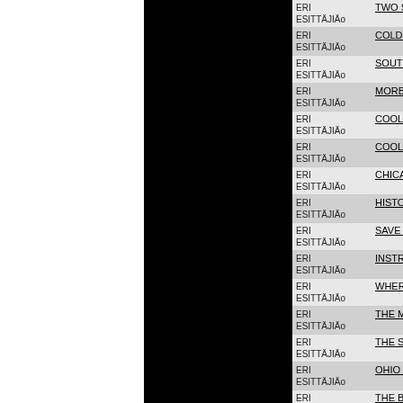| Artist | Title |
| --- | --- |
| ERI ESITTÄJIÄ | TWO SYNTHS A GUITAR (AND) A DR |
| ERI ESITTÄJIÄ | COLD WAVE #1 * (CD) |
| ERI ESITTÄJIÄ | SOUTHERN SOUL SHAKE (2CD) |
| ERI ESITTÄJIÄ | MORBID ANGEL - ILLUD DIVINUM IN |
| ERI ESITTÄJIÄ | COOL EUROPA (CD) |
| ERI ESITTÄJIÄ | COOL EUROPA (2LP) |
| ERI ESITTÄJIÄ | CHICAGO SOUL (THE EARLY YEARS |
| ERI ESITTÄJIÄ | HISTORY OF SOUL (2CD) |
| ERI ESITTÄJIÄ | SAVE A SEAT FOR ME: A SOUL CHR |
| ERI ESITTÄJIÄ | INSTRUMENTALS (SOUL-STYLE FR |
| ERI ESITTÄJIÄ | WHERE SOUTHERN SOUL BEGAN V |
| ERI ESITTÄJIÄ | THE MOTORCITY SCRAP BOOK : DR |
| ERI ESITTÄJIÄ | THE SWEET SOUND OF PHILADELP |
| ERI ESITTÄJIÄ | OHIO SOUL (2CD) |
| ERI ESITTÄJIÄ | THE BIRTH OF THE BEAT 1954-1963 |
| ERI ESITTÄJIÄ | INSTRUMENTALS SOUL-STYLE VOL |
| ERI ESITTÄJIÄ | SOUL ON THE WEST COAST 2 (CAL |
| ERI ESITTÄJIÄ | NEW YORK SOUL '66 (CD) |